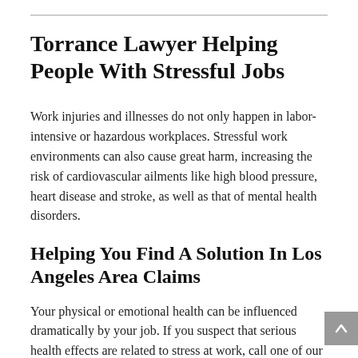Torrance Lawyer Helping People With Stressful Jobs
Work injuries and illnesses do not only happen in labor-intensive or hazardous workplaces. Stressful work environments can also cause great harm, increasing the risk of cardiovascular ailments like high blood pressure, heart disease and stroke, as well as that of mental health disorders.
Helping You Find A Solution In Los Angeles Area Claims
Your physical or emotional health can be influenced dramatically by your job. If you suspect that serious health effects are related to stress at work, call one of our workers' compensation lawyers